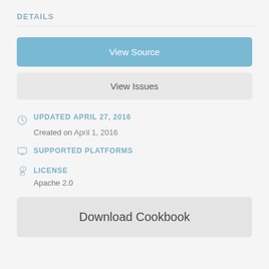DETAILS
View Source
View Issues
UPDATED APRIL 27, 2016
Created on April 1, 2016
SUPPORTED PLATFORMS
LICENSE
Apache 2.0
Download Cookbook